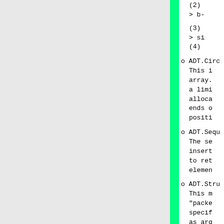(2)
> b-
(3)
> si
(4)
o ADT.Circ
    This i
    array.
    a limi
    alloca
    ends o
    positi
o ADT.Sequ
    The se
    insert
    to ret
    elemen
o ADT.Stru
    This m
    "packe
    specif
    as arg
    ordina
    an MP3

    clas
    i